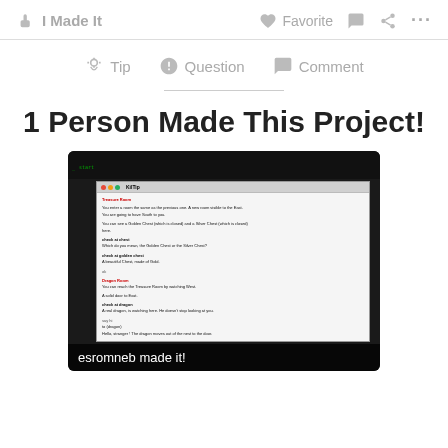I Made It  Favorite  Comment  Share  ...
Tip  Question  Comment
1 Person Made This Project!
[Figure (screenshot): Screenshot of a text adventure game dialog window on a dark terminal background, with caption 'esromneb made it!']